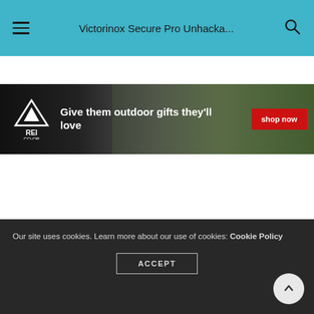Victorinox Secure Pro Unhacka...
[Figure (infographic): REI Co-op advertisement banner. Dark background with outdoor gear photos. REI Co-op logo on left, text 'Give them outdoor gifts they'll love' in center, red 'shop now' button on right.]
Our site uses cookies. Learn more about our use of cookies: Cookie Policy